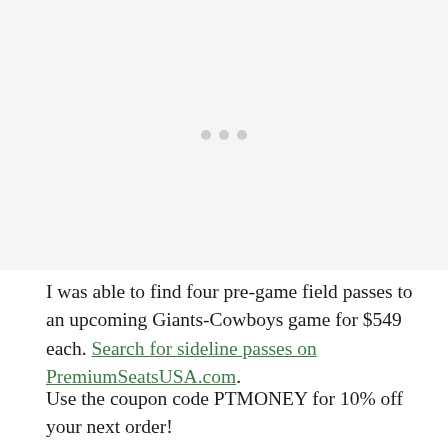[Figure (other): Image placeholder with loading dots indicator on light gray background]
I was able to find four pre-game field passes to an upcoming Giants-Cowboys game for $549 each. Search for sideline passes on PremiumSeatsUSA.com.
Use the coupon code PTMONEY for 10% off your next order!